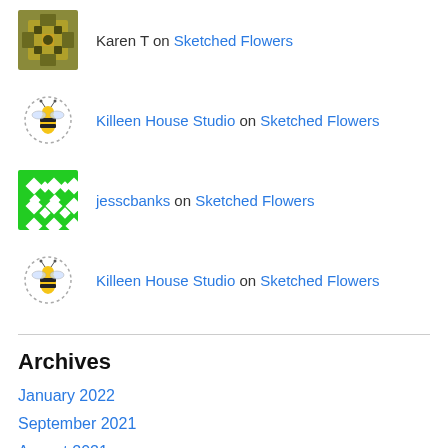Karen T on Sketched Flowers
Killeen House Studio on Sketched Flowers
jesscbanks on Sketched Flowers
Killeen House Studio on Sketched Flowers
Archives
January 2022
September 2021
August 2021
May 2021
March 2021
February 2021